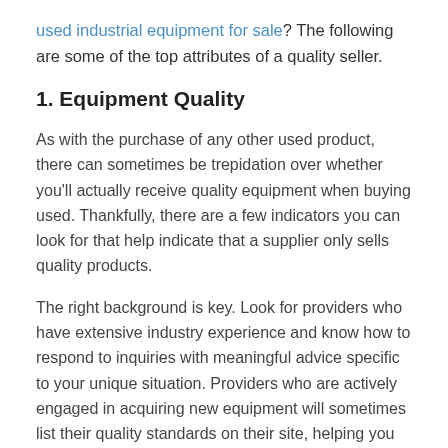used industrial equipment for sale? The following are some of the top attributes of a quality seller.
1. Equipment Quality
As with the purchase of any other used product, there can sometimes be trepidation over whether you'll actually receive quality equipment when buying used. Thankfully, there are a few indicators you can look for that help indicate that a supplier only sells quality products.
The right background is key. Look for providers who have extensive industry experience and know how to respond to inquiries with meaningful advice specific to your unique situation. Providers who are actively engaged in acquiring new equipment will sometimes list their quality standards on their site, helping you have even greater peace of mind when you buy.